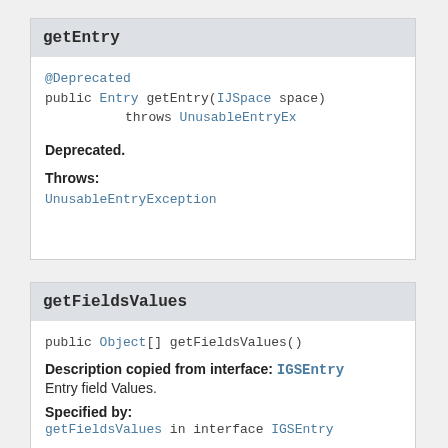getEntry
@Deprecated
public Entry getEntry(IJSpace space)
    throws UnusableEntryEx
Deprecated.
Throws:
UnusableEntryException
getFieldsValues
public Object[] getFieldsValues()
Description copied from interface: IGSEntry
Entry field Values.
Specified by:
getFieldsValues in interface IGSEntry
Returns: